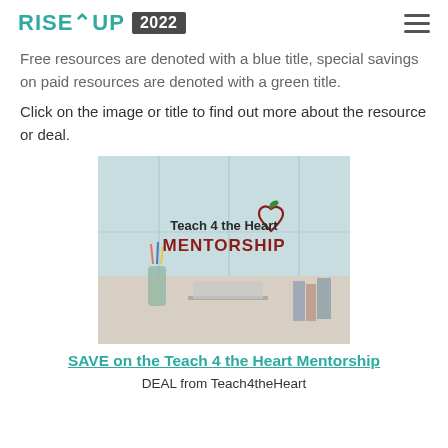RISE UP 2022
Free resources are denoted with a blue title, special savings on paid resources are denoted with a green title.
Click on the image or title to find out more about the resource or deal.
[Figure (photo): Photo of a classroom desk with pencils, laptop, and books. Overlaid with the 'Teach 4 the Heart MENTORSHIP' logo — a red heart-shaped apple with a green leaf and dark bold text.]
SAVE on the Teach 4 the Heart Mentorship
DEAL from Teach4theHeart